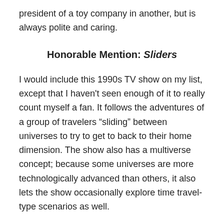president of a toy company in another, but is always polite and caring.
Honorable Mention: Sliders
I would include this 1990s TV show on my list, except that I haven't seen enough of it to really count myself a fan.  It follows the adventures of a group of travelers “sliding” between universes to try to get to back to their home dimension.  The show also has a multiverse concept; because some universes are more technologically advanced than others, it also lets the show occasionally explore time travel-type scenarios as well.
Share this: